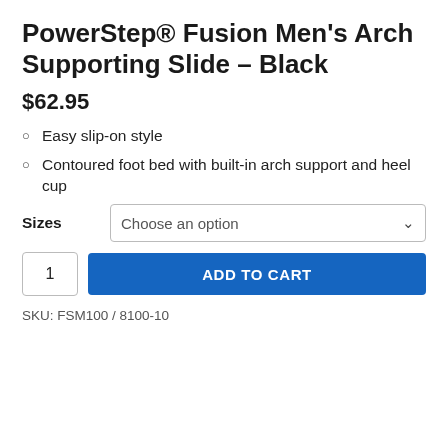PowerStep® Fusion Men's Arch Supporting Slide – Black
$62.95
Easy slip-on style
Contoured foot bed with built-in arch support and heel cup
Sizes  Choose an option
1   ADD TO CART
SKU: FSM100 / 8100-10